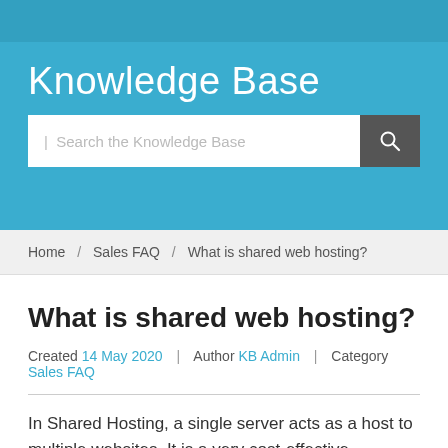Knowledge Base
Search the Knowledge Base
Home / Sales FAQ / What is shared web hosting?
What is shared web hosting?
Created 14 May 2020 | Author KB Admin | Category Sales FAQ
In Shared Hosting, a single server acts as a host to multiple websites. It is a very cost-effective technique as it